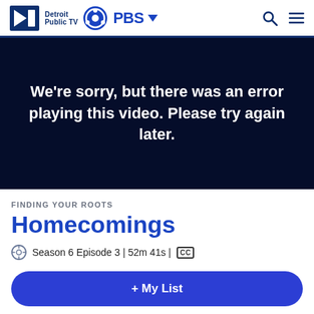Detroit Public TV | PBS
[Figure (screenshot): Video player error screen with dark navy background showing error message in white text]
We're sorry, but there was an error playing this video. Please try again later.
FINDING YOUR ROOTS
Homecomings
Season 6 Episode 3 | 52m 41s | CC
+ My List